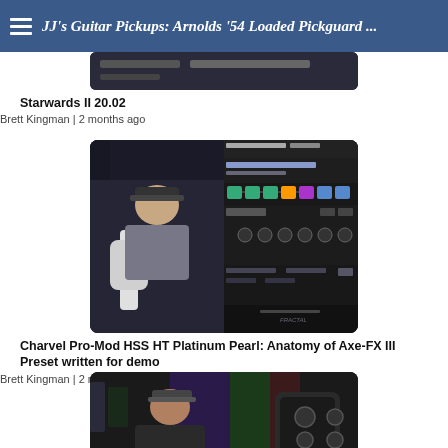JJ's Guitar Pickups: Arnolds '54 Loaded Pickguard ...
[Figure (screenshot): Partial thumbnail of a video at the top of the page]
Starwards II 20.02
Brett Kingman | 2 months ago
[Figure (screenshot): Video thumbnail showing Brett Kingman holding a white Charvel guitar alongside a Fractal Axe-FX III preset editor screen with HSS HT Platinum Pearl settings]
Charvel Pro-Mod HSS HT Platinum Pearl: Anatomy of Axe-FX III Preset written for demo
Brett Kingman | 2 months ago
[Figure (screenshot): Video thumbnail showing Brett Kingman sitting in front of a colorful wall with a guitar pedal visible on the right side]